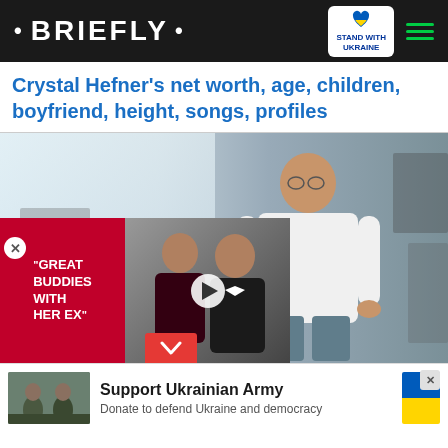· BRIEFLY ·
Crystal Hefner's net worth, age, children, boyfriend, height, songs, profiles
[Figure (photo): Main article photo showing a man in a white shirt in an office environment, with a video ad overlay showing text 'GREAT BUDDIES WITH HER EX' and a thumbnail of two people, and a collapse button]
[Figure (photo): Support Ukrainian Army advertisement banner with soldiers image and Ukrainian flag colors]
Support Ukrainian Army - Donate to defend Ukraine and democracy